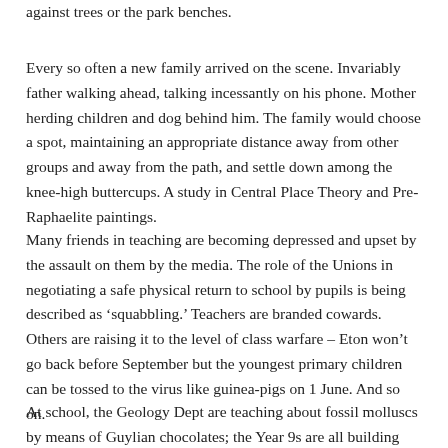against trees or the park benches.
Every so often a new family arrived on the scene. Invariably father walking ahead, talking incessantly on his phone. Mother herding children and dog behind him. The family would choose a spot, maintaining an appropriate distance away from other groups and away from the path, and settle down among the knee-high buttercups. A study in Central Place Theory and Pre-Raphaelite paintings.
Many friends in teaching are becoming depressed and upset by the assault on them by the media. The role of the Unions in negotiating a safe physical return to school by pupils is being described as ‘squabbling.’ Teachers are branded cowards. Others are raising it to the level of class warfare – Eton won’t go back before September but the youngest primary children can be tossed to the virus like guinea-pigs on 1 June. And so on.
At school, the Geology Dept are teaching about fossil molluscs by means of Guylian chocolates; the Year 9s are all building pin-hole cameras from whatever is lying around at home, whilst the Year 10s